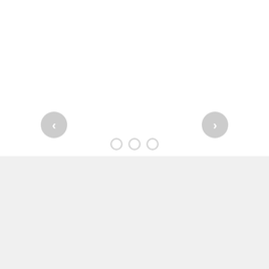[Figure (other): Slideshow/carousel navigation UI with left arrow button, right arrow button, and three pagination dots. White background area with navigation controls.]
AIR DUCT CLEANING TORRANCE CA